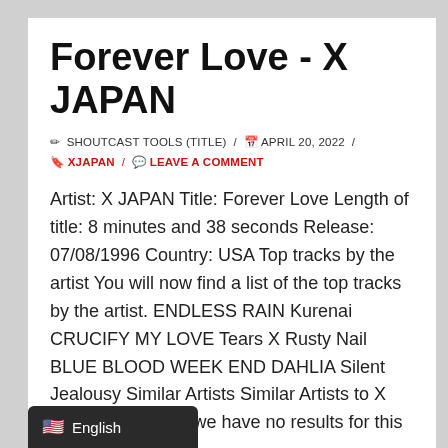Forever Love - X JAPAN
✏ SHOUTCAST TOOLS (TITLE) / 📅 APRIL 20, 2022 /
🔖 XJAPAN / 💬 LEAVE A COMMENT
Artist: X JAPAN Title: Forever Love Length of title: 8 minutes and 38 seconds Release: 07/08/1996 Country: USA Top tracks by the artist You will now find a list of the top tracks by the artist. ENDLESS RAIN Kurenai CRUCIFY MY LOVE Tears X Rusty Nail BLUE BLOOD WEEK END DAHLIA Silent Jealousy Similar Artists Similar Artists to X JAPAN Sorry, but we have no results for this …
🇺🇸 English